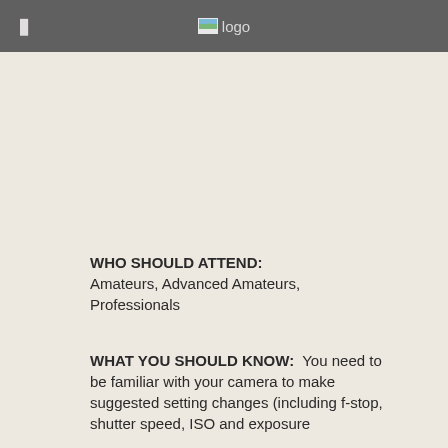logo
WHO SHOULD ATTEND: Amateurs, Advanced Amateurs, Professionals
WHAT YOU SHOULD KNOW: You need to be familiar with your camera to make suggested setting changes (including f-stop, shutter speed, ISO and exposure